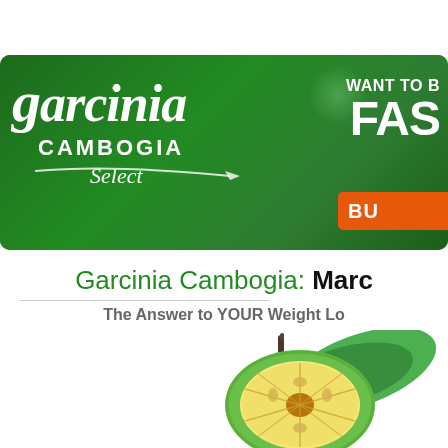[Figure (logo): Garcinia Cambogia Select brand logo on dark green rounded rectangle banner. White stylized text reads 'garcinia' in large script, with 'CAMBOGIA' in bold white uppercase and 'Select' in white italic script below. Right side shows partial text 'WANT TO B...' and 'FAS...' in white bold, with an orange button partially visible labeled 'BU...']
Garcinia Cambogia: Marc
The Answer to YOUR Weight Lo
[Figure (photo): A cut garcinia cambogia fruit showing the cross-section with pale yellow flesh and seed pattern inside, surrounded by green rind and leaves, on white background.]